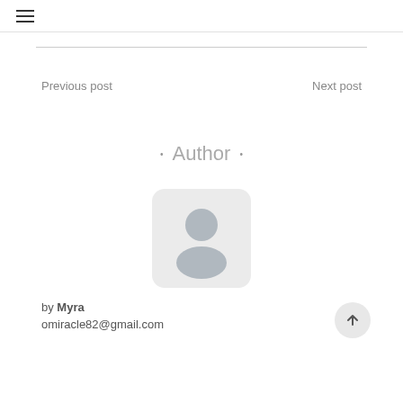≡
Previous post
Next post
• Author •
[Figure (illustration): Default user avatar placeholder: rounded square with grey background, grey silhouette of a person (head circle and shoulders)]
by Myra
omiracle82@gmail.com